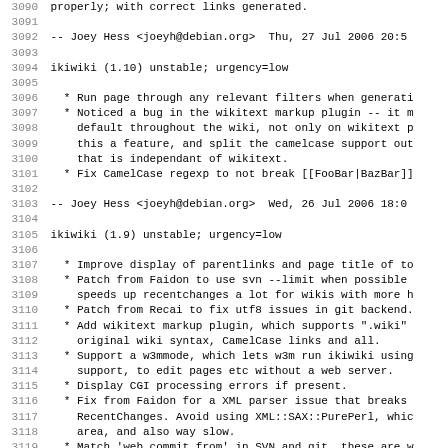Debian changelog excerpt for ikiwiki, lines 3090-3122
3090: properly; with correct links generated.
3091: (blank)
3092:  -- Joey Hess <joeyh@debian.org>  Thu, 27 Jul 2006 20:5
3093: (blank)
3094: ikiwiki (1.10) unstable; urgency=low
3095: (blank)
3096:   * Run page through any relevant filters when generati
3097:   * Noticed a bug in the wikitext markup plugin -- it m
3098:     default throughout the wiki, not only on wikitext p
3099:     this a feature, and split the camelcase support out
3100:     that is independant of wikitext.
3101:   * Fix CamelCase regexp to not break [[FooBar|BazBar]]
3102: (blank)
3103:  -- Joey Hess <joeyh@debian.org>  Wed, 26 Jul 2006 18:0
3104: (blank)
3105: ikiwiki (1.9) unstable; urgency=low
3106: (blank)
3107:   * Improve display of parentlinks and page title of to
3108:   * Patch from Faidon to use svn --limit when possible
3109:     speeds up recentchanges a lot for wikis with more h
3110:   * Patch from Recai to fix utf8 issues in git backend.
3111:   * Add wikitext markup plugin, which supports ".wiki"
3112:     original wiki syntax, CamelCase links and all.
3113:   * Support a w3mmode, which lets w3m run ikiwiki using
3114:     support, to edit pages etc without a web server.
3115:   * Display CGI processing errors if present.
3116:   * Fix from Faidon for a XML parser issue that breaks
3117:     RecentChanges. Avoid using XML::SAX::PurePerl, whic
3118:     area, and also way slow.
3119:   * Match 'web commit from' in SVN and git, these are w
3120:     (Faidon)
3121:   * Consolidated all decode_utf8 in FormBuilder's field
3122:     readable and avoid future mistakes. The patch seem